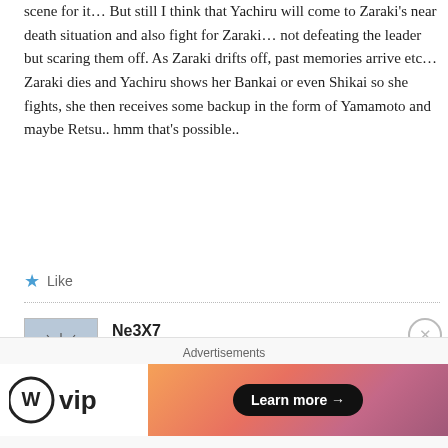scene for it… But still I think that Yachiru will come to Zaraki's near death situation and also fight for Zaraki… not defeating the leader but scaring them off. As Zaraki drifts off, past memories arrive etc… Zaraki dies and Yachiru shows her Bankai or even Shikai so she fights, she then receives some backup in the form of Yamamoto and maybe Retsu.. hmm that's possible..
★ Like
Ne3X7
July 25, 2012 at 5:38 pm
Advertisements
[Figure (logo): WordPress VIP logo with circle W icon and 'vip' text]
[Figure (other): Learn more button with gradient orange/pink background, arrow pointing right]